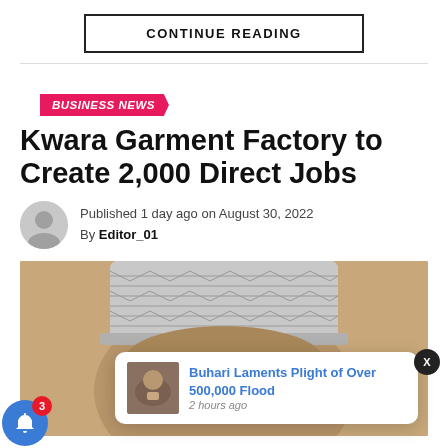CONTINUE READING
BUSINESS NEWS
Kwara Garment Factory to Create 2,000 Direct Jobs
Published 1 day ago on August 30, 2022
By Editor_01
[Figure (photo): Photo of a person wearing a traditional grey cap (kufi), forehead and top of face visible. Notification popup overlay: 'Buhari Laments Plight of Over 500,000 Flood' with a small photo, timestamped '2 hours ago'. Blue bell icon with badge showing '3' in bottom left.]